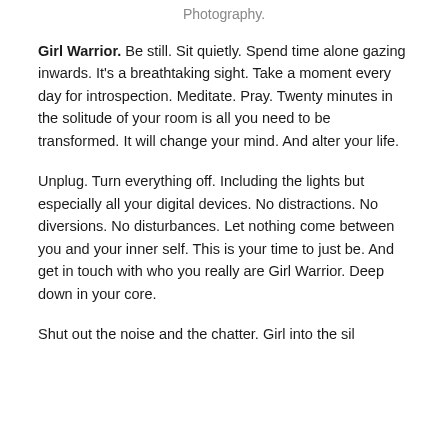Photography.
Girl Warrior.  Be still. Sit quietly. Spend time alone gazing inwards. It's a breathtaking sight. Take a moment every day for introspection. Meditate. Pray. Twenty minutes in the solitude of your room is all you need to be transformed. It will change your mind. And alter your life.
Unplug. Turn everything off. Including the lights but especially all your digital devices. No distractions. No diversions. No disturbances. Let nothing come between you and your inner self. This is your time to just be. And get in touch with who you really are Girl Warrior. Deep down in your core.
Shut out the noise and the chatter. Girl into the silence…